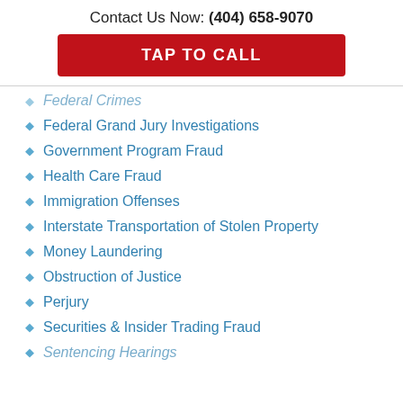Contact Us Now: (404) 658-9070
TAP TO CALL
Federal Crimes (partial, faded header)
Federal Grand Jury Investigations
Government Program Fraud
Health Care Fraud
Immigration Offenses
Interstate Transportation of Stolen Property
Money Laundering
Obstruction of Justice
Perjury
Securities & Insider Trading Fraud
Sentencing Hearings